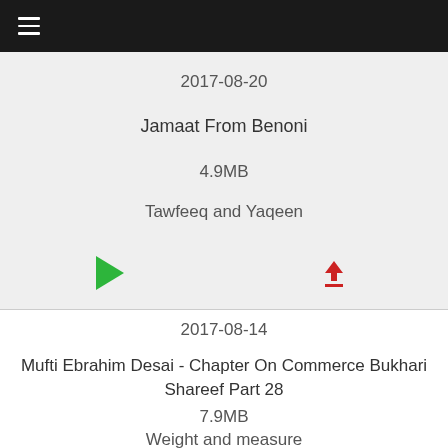[Figure (screenshot): Mobile app top navigation bar with hamburger menu icon on dark background]
2017-08-20
Jamaat From Benoni
4.9MB
Tawfeeq and Yaqeen
[Figure (other): Play button (green triangle) and Download button (red arrow) icons]
2017-08-14
Mufti Ebrahim Desai - Chapter On Commerce Bukhari Shareef Part 28
7.9MB
Weight and measure
[Figure (other): Play button (green triangle) and Download button (red arrow) icons]